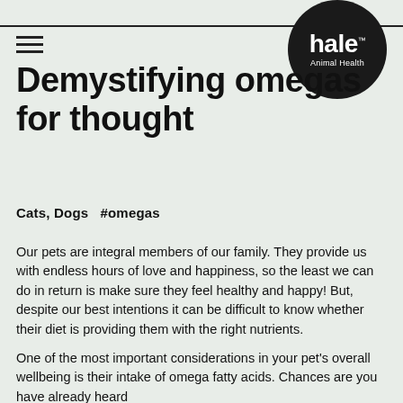[Figure (logo): Hale Animal Health logo — white text on black circle reading 'hale™' and 'Animal Health']
Demystifying omegas for thought
Cats,  Dogs  #omegas
Our pets are integral members of our family. They provide us with endless hours of love and happiness, so the least we can do in return is make sure they feel healthy and happy! But, despite our best intentions it can be difficult to know whether their diet is providing them with the right nutrients.
One of the most important considerations in your pet's overall wellbeing is their intake of omega fatty acids. Chances are you have already heard people talk about omega fatty acids, but how do...